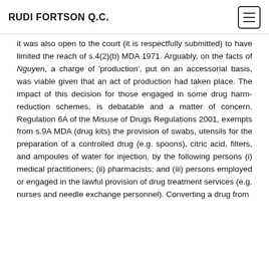RUDI FORTSON Q.C.
it was also open to the court (it is respectfully submitted) to have limited the reach of s.4(2)(b) MDA 1971. Arguably, on the facts of Nguyen, a charge of 'production', put on an accessorial basis, was viable given that an act of production had taken place. The impact of this decision for those engaged in some drug harm-reduction schemes, is debatable and a matter of concern. Regulation 6A of the Misuse of Drugs Regulations 2001, exempts from s.9A MDA (drug kits) the provision of swabs, utensils for the preparation of a controlled drug (e.g. spoons), citric acid, filters, and ampoules of water for injection, by the following persons (i) medical practitioners; (ii) pharmacists; and (iii) persons employed or engaged in the lawful provision of drug treatment services (e.g. nurses and needle exchange personnel). Converting a drug from